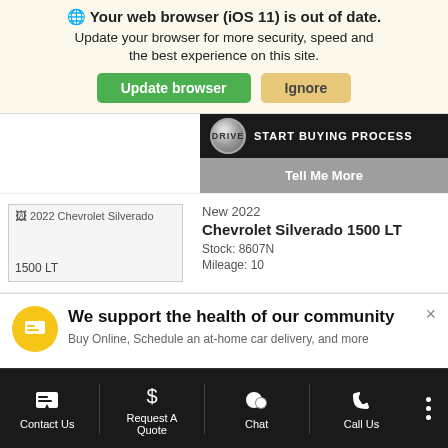🌐 Your web browser (iOS 11) is out of date. Update your browser for more security, speed and the best experience on this site.
[Figure (screenshot): Green 'Update browser' button and tan 'Ignore' button]
[Figure (screenshot): Drive button circle with 'START BUYING PROCESS' text in dark banner, and 'Tell Me More' grey button below]
[Figure (screenshot): 2022 Chevrolet Silverado 1500 LT vehicle listing image placeholder]
New 2022
Chevrolet Silverado 1500 LT
Stock: 8607N
Mileage: 10
We support the health of our community
Buy Online, Schedule an at-home car delivery, and more
Contact Us | Request A Quote | Chat | Call Us